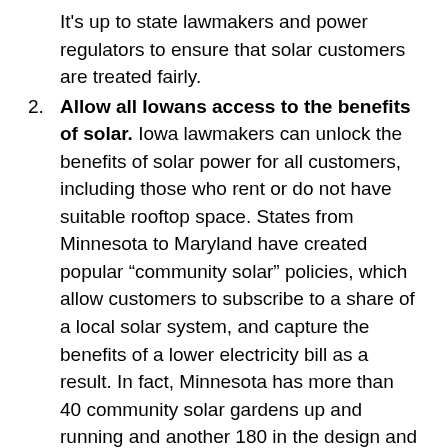It's up to state lawmakers and power regulators to ensure that solar customers are treated fairly.
Allow all Iowans access to the benefits of solar. Iowa lawmakers can unlock the benefits of solar power for all customers, including those who rent or do not have suitable rooftop space. States from Minnesota to Maryland have created popular “community solar” policies, which allow customers to subscribe to a share of a local solar system, and capture the benefits of a lower electricity bill as a result. In fact, Minnesota has more than 40 community solar gardens up and running and another 180 in the design and construction phase.
Create a target and stick to it. Create a solar goal and develop incentive